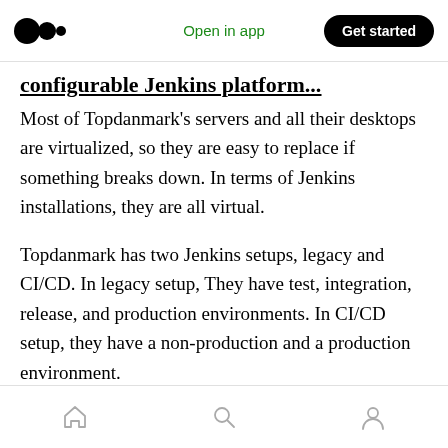Open in app  Get started
configurable Jenkins platform...
Most of Topdanmark's servers and all their desktops are virtualized, so they are easy to replace if something breaks down. In terms of Jenkins installations, they are all virtual.
Topdanmark has two Jenkins setups, legacy and CI/CD. In legacy setup, They have test, integration, release, and production environments. In CI/CD setup, they have a non-production and a production environment.
The legacy setup is part of a pre-scheduled
Home  Search  Profile